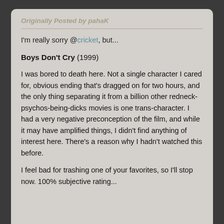Originally Posted by pahaK
I'm really sorry @cricket, but...
Boys Don't Cry (1999)
I was bored to death here. Not a single character I cared for, obvious ending that's dragged on for two hours, and the only thing separating it from a billion other redneck-psychos-being-dicks movies is one trans-character. I had a very negative preconception of the film, and while it may have amplified things, I didn't find anything of interest here. There's a reason why I hadn't watched this before.
I feel bad for trashing one of your favorites, so I'll stop now. 100% subjective rating...